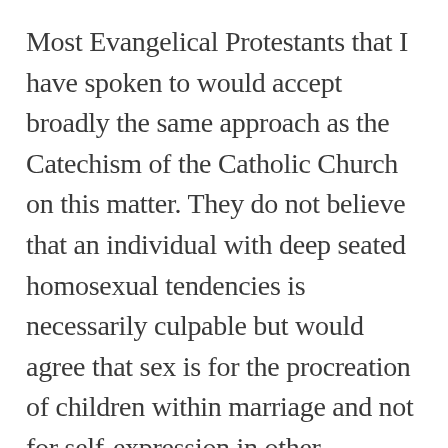Most Evangelical Protestants that I have spoken to would accept broadly the same approach as the Catechism of the Catholic Church on this matter. They do not believe that an individual with deep seated homosexual tendencies is necessarily culpable but would agree that sex is for the procreation of children within marriage and not for self-expression in other relationships.
The book is going to have to catch up on the teaching of the Liberals. It says: